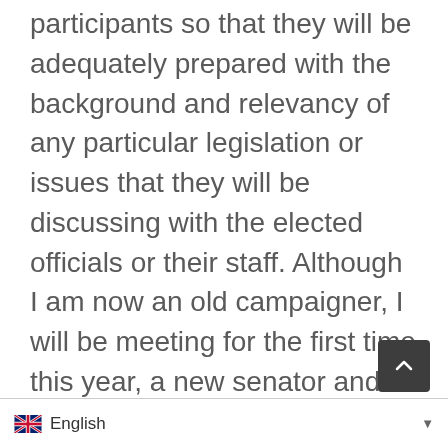participants so that they will be adequately prepared with the background and relevancy of any particular legislation or issues that they will be discussing with the elected officials or their staff. Although I am now an old campaigner, I will be meeting for the first time this year, a new senator and representative who may know very little about kidney disease or dialysis. So I will be freshly challenged to tell my story, present the issues at hand, and to start once again to build a working relationship with the goal of making a better tomorrow for kidney patients who, as we all know, require the helping hand of...